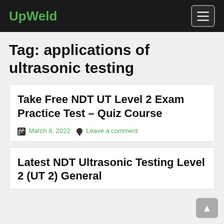UpWeld
Tag: applications of ultrasonic testing
Take Free NDT UT Level 2 Exam Practice Test – Quiz Course
March 8, 2022  Leave a comment
Latest NDT Ultrasonic Testing Level 2 (UT 2) General